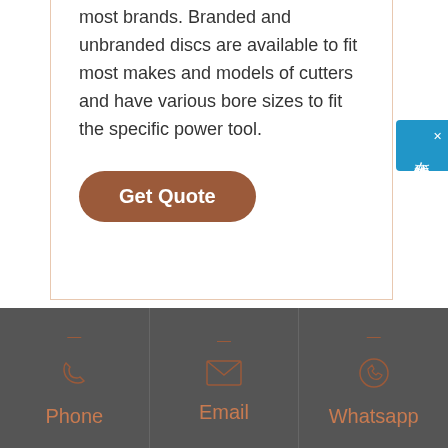most brands. Branded and unbranded discs are available to fit most makes and models of cutters and have various bore sizes to fit the specific power tool.
Get Quote
[Figure (other): Chinese language chat widget sidebar button with text '在线咨询' (online consultation) on a blue background with an X close button]
Phone | Email | Whatsapp